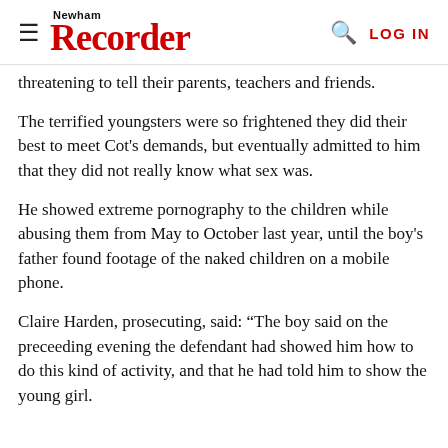Newham Recorder
threatening to tell their parents, teachers and friends.
The terrified youngsters were so frightened they did their best to meet Cot’s demands, but eventually admitted to him that they did not really know what sex was.
He showed extreme pornography to the children while abusing them from May to October last year, until the boy’s father found footage of the naked children on a mobile phone.
Claire Harden, prosecuting, said: “The boy said on the preceeding evening the defendant had showed him how to do this kind of activity, and that he had told him to show the young girl.